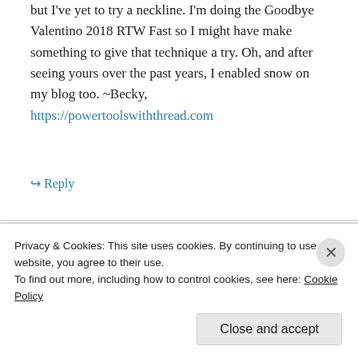but I've yet to try a neckline. I'm doing the Goodbye Valentino 2018 RTW Fast so I might have make something to give that technique a try. Oh, and after seeing yours over the past years, I enabled snow on my blog too. ~Becky, https://powertoolswiththread.com
↪ Reply
LLADYBIRD on December 20, 2017 at 9:31 am
Privacy & Cookies: This site uses cookies. By continuing to use this website, you agree to their use.
To find out more, including how to control cookies, see here: Cookie Policy
Close and accept